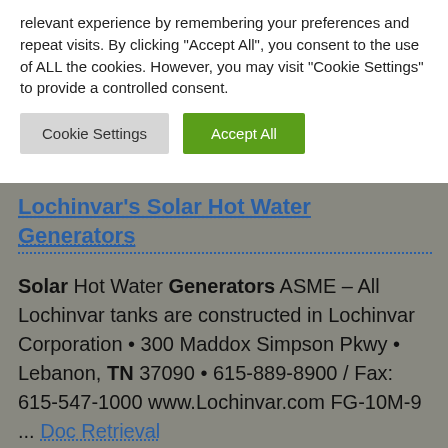relevant experience by remembering your preferences and repeat visits. By clicking “Accept All”, you consent to the use of ALL the cookies. However, you may visit "Cookie Settings" to provide a controlled consent.
Cookie Settings | Accept All
Lochinvar’s Solar Hot Water Generators
Solar Hot Water Generators ASME – All Lochinvar tanks are constructed in Lochinvar Corporation • 300 Maddox Simpson Pkwy • Lebanon, TN 37090 • 615-889-8900 / Fax: 615-547-1000 www.Lochinvar.com FG-10M-9 ... Doc Retrieval